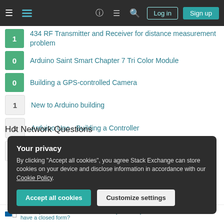Stack Exchange navigation bar with Log in and Sign up buttons
1 — 434 RF Transmitter and Receiver for distance measurement problem
0 — Arduino Saint Smart Chapter 7 Tri Color Module
0 — Building a GPS-controlled Camera
1 — New to Arduino building
1 — Arduino Uno - Building a Controller
0 — smart coding possible?
Hot Network Questions
Your privacy
By clicking "Accept all cookies", you agree Stack Exchange can store cookies on your device and disclose information in accordance with our Cookie Policy.
Accept all cookies   Customize settings
How to prove unbiasedness/consistency/normality of an estimator that doesn't have a closed form?